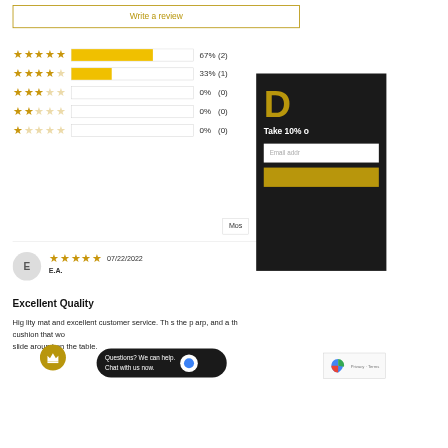Write a review
[Figure (infographic): Star rating breakdown: 5 stars 67% (2), 4 stars 33% (1), 3 stars 0% (0), 2 stars 0% (0), 1 star 0% (0)]
Most
E
07/22/2022
E.A.
Excellent Quality
High quality mat and excellent customer service. Th s the p arp, and a th cushion that wo slide around on the table.
[Figure (screenshot): Popup overlay with 'D', 'Take 10% o', Email address input, and a gold button]
Questions? We can help. Chat with us now.
[Figure (screenshot): reCAPTCHA widget - Privacy · Terms]